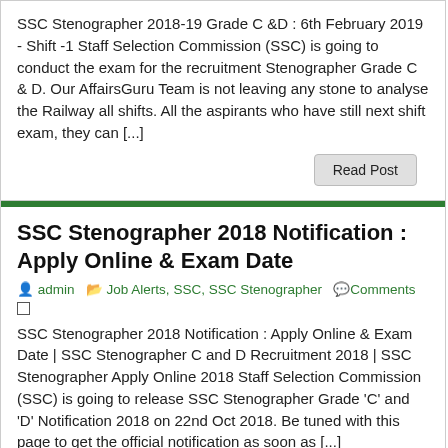SSC Stenographer 2018-19 Grade C &D : 6th February 2019 - Shift -1 Staff Selection Commission (SSC) is going to conduct the exam for the recruitment Stenographer Grade C & D. Our AffairsGuru Team is not leaving any stone to analyse the Railway all shifts. All the aspirants who have still next shift exam, they can [...]
Read Post
SSC Stenographer 2018 Notification : Apply Online & Exam Date
admin   Job Alerts, SSC, SSC Stenographer   Comments
SSC Stenographer 2018 Notification : Apply Online & Exam Date | SSC Stenographer C and D Recruitment 2018 | SSC Stenographer Apply Online 2018 Staff Selection Commission (SSC) is going to release SSC Stenographer Grade 'C' and 'D' Notification 2018 on 22nd Oct 2018. Be tuned with this page to get the official notification as soon as [...]
Read Post